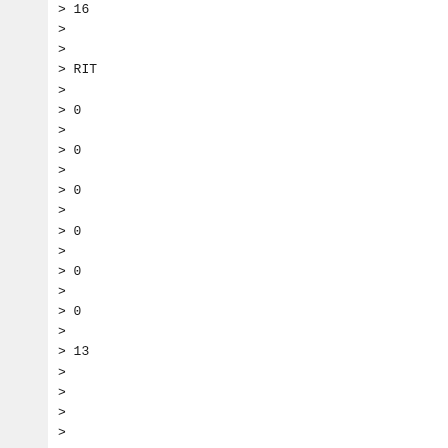> 16
>
>
> RIT
>
> 0
>
> 0
>
> 0
>
> 0
>
> 0
>
> 0
>
> 13
>
>
>
>
>
>
>
> 14
>
> 13
>
> 13